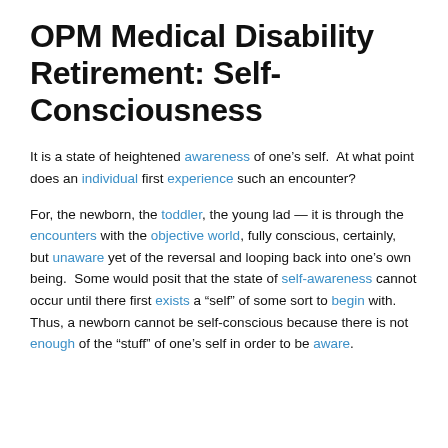OPM Medical Disability Retirement: Self-Consciousness
It is a state of heightened awareness of one’s self.  At what point does an individual first experience such an encounter?
For, the newborn, the toddler, the young lad — it is through the encounters with the objective world, fully conscious, certainly, but unaware yet of the reversal and looping back into one’s own being.  Some would posit that the state of self-awareness cannot occur until there first exists a “self” of some sort to begin with.  Thus, a newborn cannot be self-conscious because there is not enough of the “stuff” of one’s self in order to be aware.